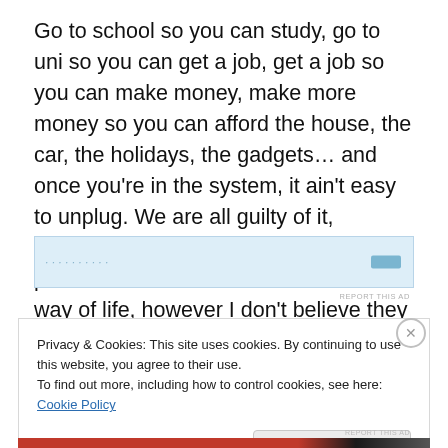Go to school so you can study, go to uni so you can get a job, get a job so you can make money, make more money so you can afford the house, the car, the holidays, the gadgets… and once you're in the system, it ain't easy to unplug. We are all guilty of it, unfortunately the lifestyle many of us pursue is not conducive to our Islamic way of life, however I don't believe they are completely incompatible.
[Figure (other): Advertisement banner with light blue background and small blue icon, with 'REPORT THIS AD' label]
Privacy & Cookies: This site uses cookies. By continuing to use this website, you agree to their use.
To find out more, including how to control cookies, see here: Cookie Policy
Close and accept